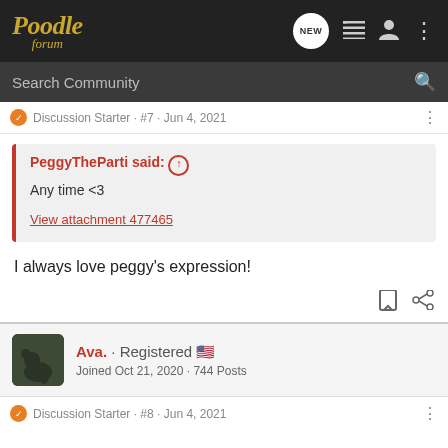Poodle forum
Search Community
Discussion Starter · #7 · Jun 4, 2021
PeggyTheParti said: ↑
Any time <3
View attachment 477465
I always love peggy's expression!
Ava. · Registered 🇺🇸
Joined Oct 21, 2020 · 744 Posts
Discussion Starter · #8 · Jun 4, 2021